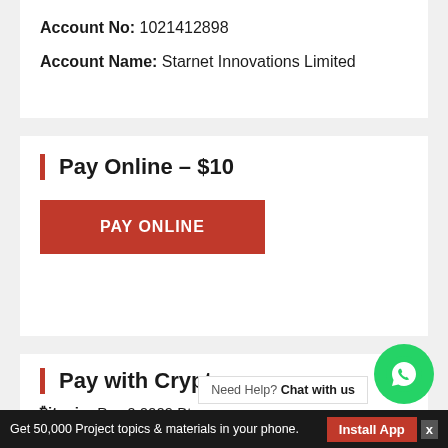Account No: 1021412898
Account Name: Starnet Innovations Limited
Pay Online – $10
PAY ONLINE
Pay with Cryptocurrency
Bitcoin: Pay 0.0009 Btc
Get 50,000 Project topics & materials in your phone.
Need Help? Chat with us
Install App